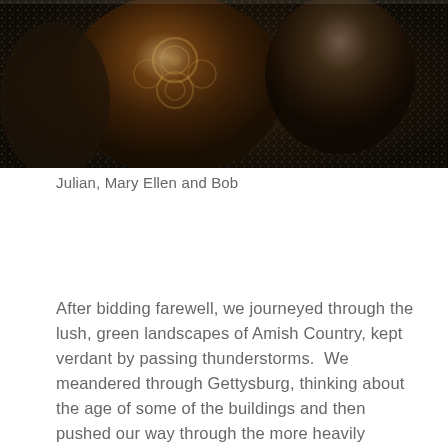[Figure (photo): Photo of three people (Julian, Mary Ellen and Bob) standing outdoors against a dark rocky/gravel background; the person on the left is wearing a dark patterned garment with ornate circular designs.]
Julian, Mary Ellen and Bob
After bidding farewell, we journeyed through the lush, green landscapes of Amish Country, kept verdant by passing thunderstorms.  We meandered through Gettysburg, thinking about the age of some of the buildings and then pushed our way through the more heavily touristed parts of town; it's all very nice now, but what was it like back in the day?
We were staying at the Gettysburg KOA set in the deep woods, with lovely, level sites.  We could have stayed here for a few days if time had allowed, and if we had been better informed of its tranquil and wooded nature.  Here families play and enjoy all the